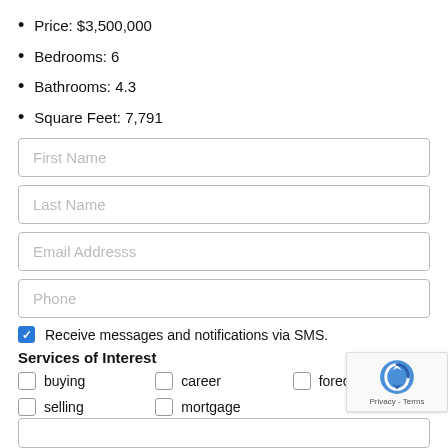Price: $3,500,000
Bedrooms: 6
Bathrooms: 4.3
Square Feet: 7,791
First Name (input field placeholder)
Last Name (input field placeholder)
Email Addresss (input field placeholder)
Phone (input field placeholder)
Receive messages and notifications via SMS.
Services of Interest
buying
career
foreclos...
selling
mortgage